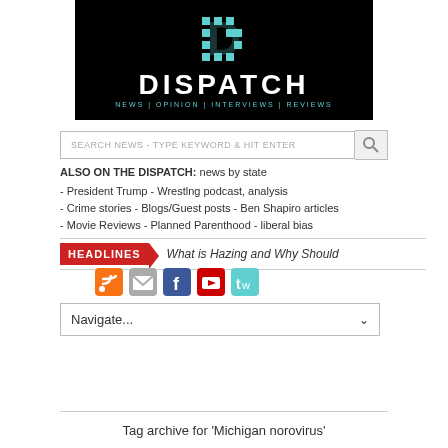[Figure (logo): Dispatch news website logo: black background with a cyan/teal pixelated D letter mark and the word DISPATCH in white bold letters, tagline NEWS | OPINION | INTERVIEWS | REVIEWS in cyan below]
SEARCH NEWS - TYPE KEYWORD & HIT ENTER
ALSO ON THE DISPATCH: news by state
- President Trump - Wrestlng podcast, analysis
- Crime stories - Blogs/Guest posts - Ben Shapiro articles
- Movie Reviews - Planned Parenthood - liberal bias
HEADLINES  What is Hazing and Why Should
[Figure (other): Social media icons row: RSS (orange), Email (grey), Facebook (blue), YouTube (red/white), Twitter (cyan)]
Navigate...
Tag archive for 'Michigan norovirus'